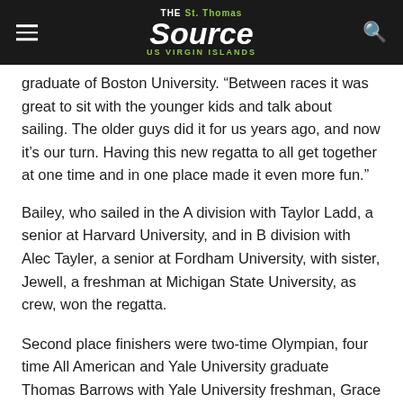THE St. Thomas Source US VIRGIN ISLANDS
graduate of Boston University. “Between races it was great to sit with the younger kids and talk about sailing. The older guys did it for us years ago, and now it’s our turn. Having this new regatta to all get together at one time and in one place made it even more fun.”
Bailey, who sailed in the A division with Taylor Ladd, a senior at Harvard University, and in B division with Alec Tayler, a senior at Fordham University, with sister, Jewell, a freshman at Michigan State University, as crew, won the regatta.
Second place finishers were two-time Olympian, four time All American and Yale University graduate Thomas Barrows with Yale University freshman, Grace Ann Nicolosi as crew in A division and Boston College freshman Thomas Walden with